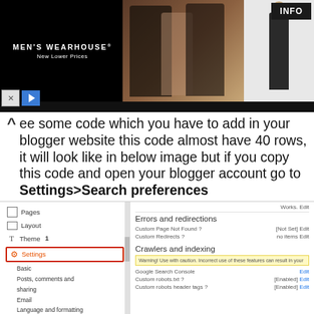[Figure (screenshot): Men's Wearhouse advertisement banner with black background, logo on left, couple in formal wear in center, man in suit on right, INFO button]
ee some code which you have to add in your blogger website this code almost have 40 rows, it will look like in below image but if you copy this code and open your blogger account go to Settings>Search preferences
[Figure (screenshot): Blogger settings sidebar screenshot showing Pages, Layout, Theme, Settings (highlighted in red box with label 1), Basic, Posts comments and sharing, Email, Language and formatting, Search preferences (highlighted in red box with label 2), Other, User settings. Right panel shows Errors and redirections, Custom Page Not Found, Custom Redirects, Crawlers and indexing section with warning box, Google Search Console, Custom robots txt [Enabled] Edit, Custom robots header tags [Enabled] Edit. Number 3 label at bottom.]